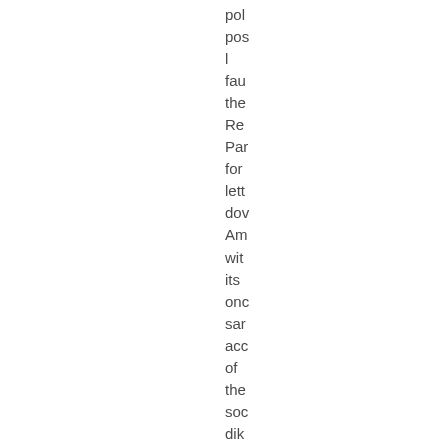pol
pos
l
fau
the
Re
Par
for
lett
dov
Am
wit
its
onc
sar
acc
of
the
soc
dik
iss
by
the